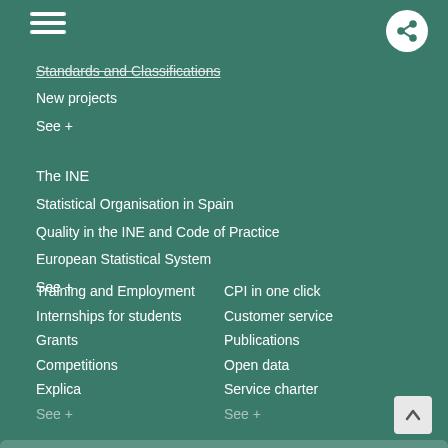Standards and Classifications (strikethrough) | New projects | See +
Standards and Classifications
New projects
See +
The INE
Statistical Organisation in Spain
Quality in the INE and Code of Practice
European Statistical System
See +
Training and Employment
Internships for students
Grants
Competitions
Explica
See +
CPI in one click
Customer service
Publications
Open data
Service charter
See +